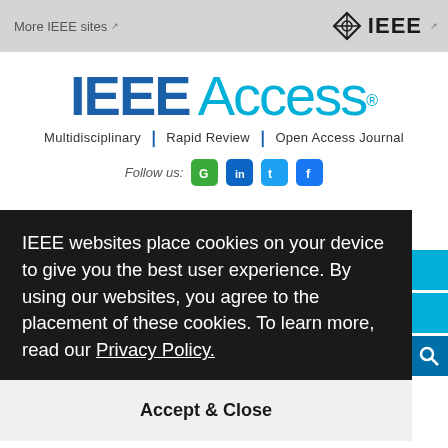More IEEE sites | IEEE logo
[Figure (logo): IEEE Access journal logo with tagline: Multidisciplinary | Rapid Review | Open Access Journal]
Follow us:
IEEE websites place cookies on your device to give you the best user experience. By using our websites, you agree to the placement of these cookies. To learn more, read our Privacy Policy.
Accept & Close
Home » Topical Sections » Closed Special Sections » Software Standards and Their Impact in Reducing Software Failures